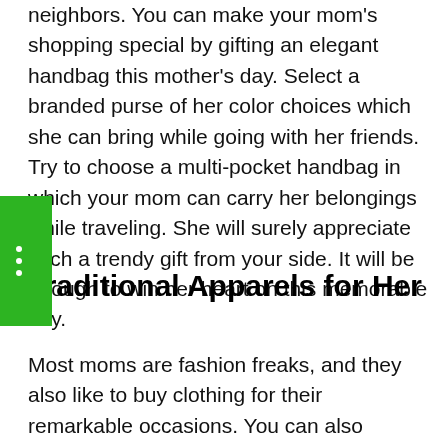neighbors. You can make your mom's shopping special by gifting an elegant handbag this mother's day. Select a branded purse of her color choices which she can bring while going with her friends. Try to choose a multi-pocket handbag in which your mom can carry her belongings while traveling. She will surely appreciate such a trendy gift from your side. It will be enough to win her heart on this memorable day.
Traditional Apparels for Her
Most moms are fashion freaks, and they also like to buy clothing for their remarkable occasions. You can also purchase a traditional dress or suit of her choice. If she loves some trendy apparel, then you